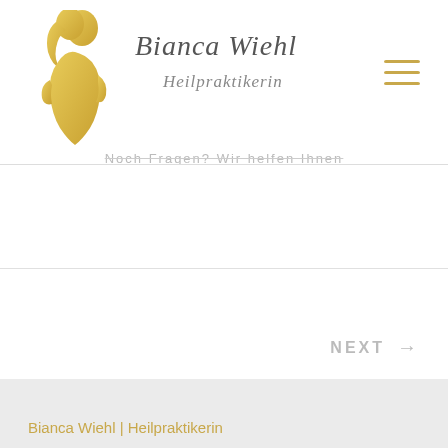[Figure (logo): Golden silhouette of a woman (pregnant or in profile) used as brand logo for Bianca Wiehl Heilpraktikerin]
Bianca Wiehl
Heilpraktikerin
[Figure (other): Hamburger menu icon with three horizontal gold lines]
Noch Fragen? Wir helfen Ihnen
NEXT →
Bianca Wiehl | Heilpraktikerin